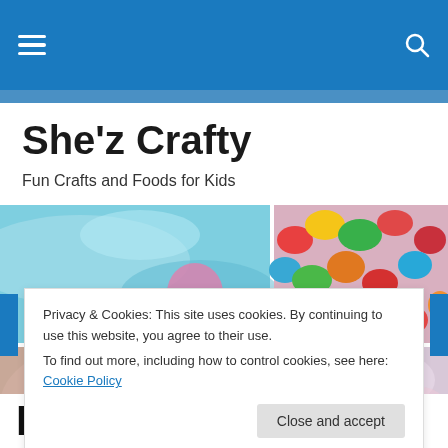She'z Crafty — navigation bar with hamburger menu and search icon
She'z Crafty
Fun Crafts and Foods for Kids
[Figure (photo): Photo collage: top-left shows blue water/ice texture with pink balloon; top-right shows colorful painted rocks/stones in red, green, yellow, teal, orange; bottom-left shows close-up of child's skin/face; bottom-center shows child's hands in colorful sprinkles/confetti; bottom-right shows pastel glittery texture.]
Privacy & Cookies: This site uses cookies. By continuing to use this website, you agree to their use.
To find out more, including how to control cookies, see here: Cookie Policy
Close and accept
Dinosaur Songs